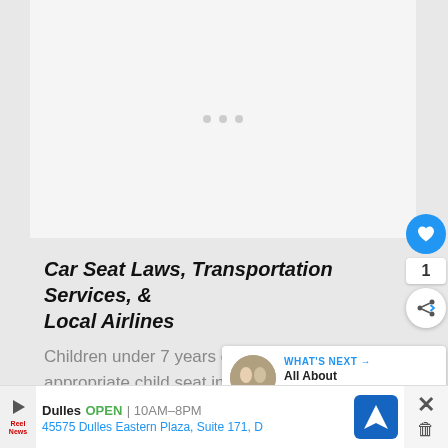[Figure (photo): Image placeholder with loading dots, gray background]
Car Seat Laws, Transportation Services, & Local Airlines
Children under 7 years of age must use an appropriate child seat in Antigua and Barbuda. Both drivers and passengers must wear seat
[Figure (other): What's Next banner: All About Turks and...]
[Figure (other): Advertisement banner: Dulles OPEN 10AM-8PM, 45575 Dulles Eastern Plaza, Suite 171, D]